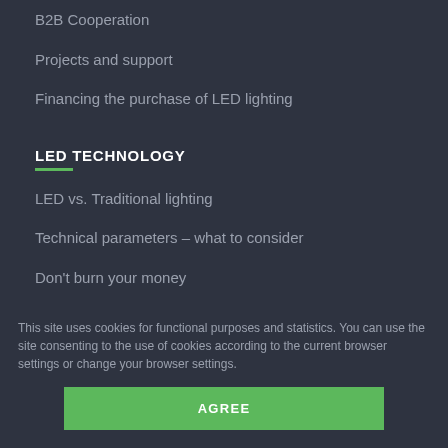B2B Cooperation
Projects and support
Financing the purchase of LED lighting
LED TECHNOLOGY
LED vs. Traditional lighting
Technical parameters – what to consider
Don't burn your money
CONTACT
This site uses cookies for functional purposes and statistics. You can use the site consenting to the use of cookies according to the current browser settings or change your browser settings.
AGREE